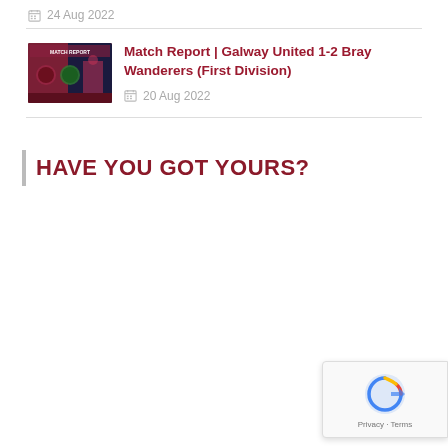24 Aug 2022
Match Report | Galway United 1-2 Bray Wanderers (First Division)
20 Aug 2022
HAVE YOU GOT YOURS?